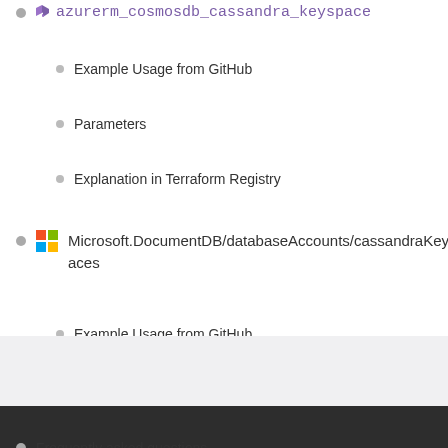azurerm_cosmosdb_cassandra_keyspace
Example Usage from GitHub
Parameters
Explanation in Terraform Registry
Microsoft.DocumentDB/databaseAccounts/cassandraKeyspaces
Example Usage from GitHub
Parameters
Frequently asked questions